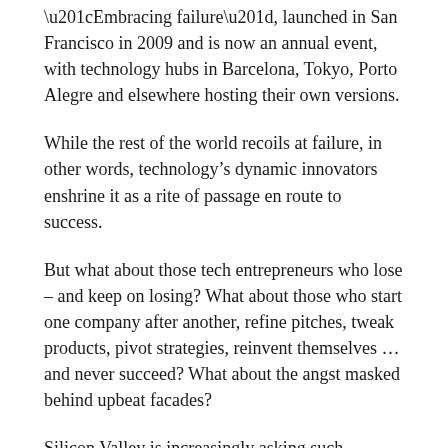“Embracing failure”, launched in San Francisco in 2009 and is now an annual event, with technology hubs in Barcelona, Tokyo, Porto Alegre and elsewhere hosting their own versions.
While the rest of the world recoils at failure, in other words, technology’s dynamic innovators enshrine it as a rite of passage en route to success.
But what about those tech entrepreneurs who lose – and keep on losing? What about those who start one company after another, refine pitches, tweak products, pivot strategies, reinvent themselves … and never succeed? What about the angst masked behind upbeat facades?
Silicon Valley is increasingly asking such questions, even as the tech boom rewards some startups with billion-dollar valuations, sprinkling stardust on founders who talk of changing the world.